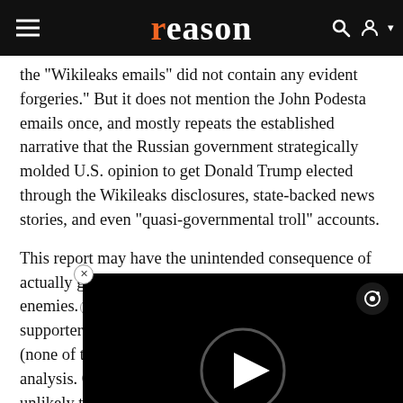reason
the "Wikileaks emails" did not contain any evident forgeries." But it does not mention the John Podesta emails once, and mostly repeats the established narrative that the Russian government strategically molded U.S. opinion to get Donald Trump elected through the Wikileaks disclosures, state-backed news stories, and even "quasi-governmental troll" accounts.
This report may have the unintended consequence of actually generating gratitude for our supposed enemies. Most of the repo supporter's 99 t (none of them a analysis. Obvio unlikely to take aired. And plen join Putin's trolls in characterizing the United States as a
[Figure (screenshot): Black video player overlay with circular play button in center and camera icon in top right corner, with a close (X) button in top left]